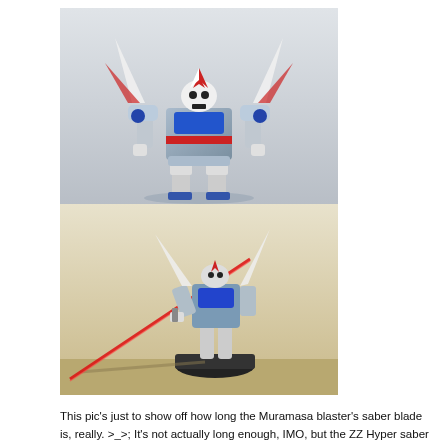[Figure (photo): Top photo: A custom-painted Gundam-style mecha model figure (blue, white, red color scheme with skull head detail) posed frontally against a white/gray background. Bottom photo: Side/angled view of the same mecha model holding a long red saber blade weapon, posed on a black base.]
This pic's just to show off how long the Muramasa blaster's saber blade is, really. >_>;  It's not actually long enough, IMO, but the ZZ Hyper saber blade was the best thing I had to hand after my attempts at recasting a custom-sculpted blade went to hell.  I've bought better clear resin though, so I might well try again.  For reference, the arm can JUST about hold a pose with the Muramasa, but I don't want to put undue strain on it so it's always posed with the blade just resting on the floor.  Also the thumb of the left hand has broken, so I don't want to keep fiddling with and re-posing it...